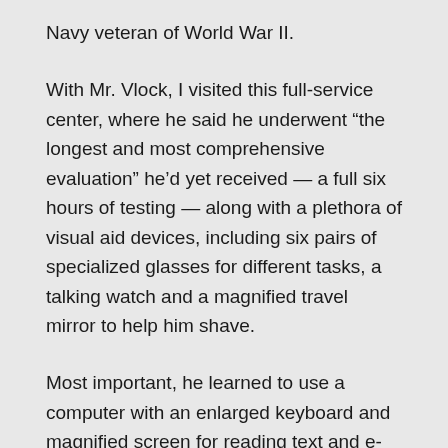Navy veteran of World War II.
With Mr. Vlock, I visited this full-service center, where he said he underwent “the longest and most comprehensive evaluation” he’d yet received — a full six hours of testing — along with a plethora of visual aid devices, including six pairs of specialized glasses for different tasks, a talking watch and a magnified travel mirror to help him shave.
Most important, he learned to use a computer with an enlarged keyboard and magnified screen for reading text and e-mail; if he can’t make out what’s on the screen, it will read to him out loud. (He has since donated three of these computers to the public library and local residences for the elderly.)